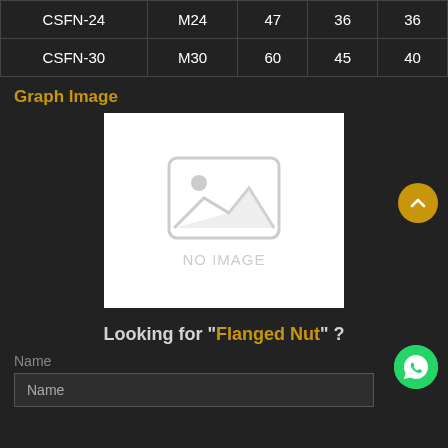| CSFN-24 | M24 | 47 | 36 | 36 |
| CSFN-30 | M30 | 60 | 45 | 40 |
Graph Image
[Figure (other): Placeholder image box with mountain/sun icon and text NO IMAGE]
Looking for "Flanged Nut" ?
Name
Name